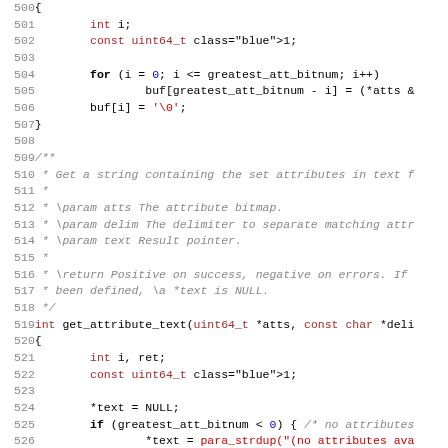[Figure (screenshot): Source code listing in C, lines 500-531, showing functions get_attribute_bitmap and get_attribute_text with syntax highlighting. Line numbers in grey on left, keywords in bold black, types in dark red, numeric/special literals in blue, string literals in red, comments in grey italic.]